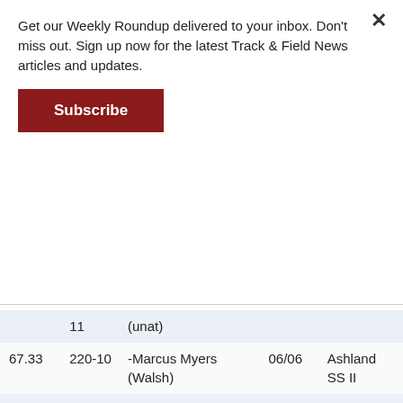Get our Weekly Roundup delivered to your inbox. Don't miss out. Sign up now for the latest Track & Field News articles and updates.
Subscribe
|  |  |  |  |  |
| --- | --- | --- | --- | --- |
|  | 11 | (unat) |  |  |
| 67.33 | 220-10 | -Marcus Myers (Walsh) | 06/06 | Ashland SS II |
| 67.14 | 220-3 | -Mitch Dixon (KsSt) | 04/13 | Texas Inv |
| 67.12 | 220-2 | **Nathan Bultman (USC) | 04/20 | Beach Inv |
| 66.74 | 218-11 | Johnnie Jackson (unat) | 04/28 | LSU Inv |
| 66.70 | 218-10 | Tresley Dupont (unat) | 04/29 | New Haven |